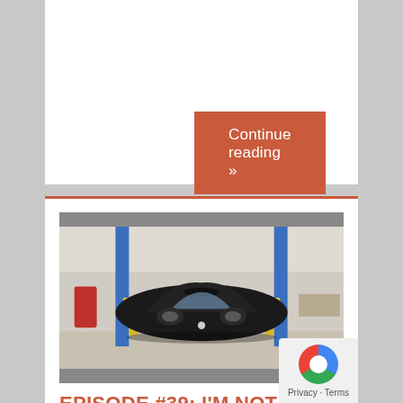Continue reading »
[Figure (photo): Front view of a black vintage Porsche 911 on a car lift in a garage workshop with yellow lift arms and blue columns visible on both sides.]
EPISODE #39: I'M NOT GOING TO QUOTE GREASE
November 21, 2017   Ian Wright   Both Hand Drive Podcast, Podcasts   0 Comments